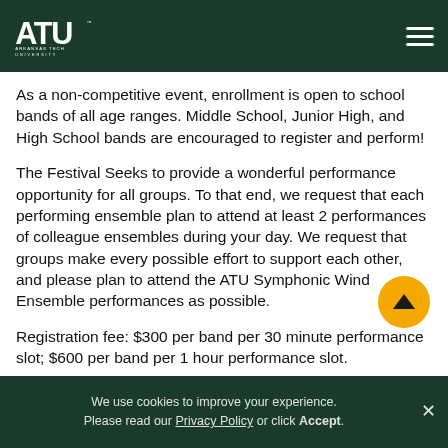ATU Arkansas Tech University
As a non-competitive event, enrollment is open to school bands of all age ranges.  Middle School, Junior High, and High School bands are encouraged to register and perform!
The Festival Seeks to provide a wonderful performance opportunity for all groups.  To that end, we request that each performing ensemble plan to attend at least 2 performances of colleague ensembles during your day.  We request that groups make every possible effort to support each other, and please plan to attend the ATU Symphonic Wind Ensemble performances as possible.
Registration fee:  $300 per band per 30 minute performance slot;  $600 per band per 1 hour performance slot.
We use cookies to improve your experience. Please read our Privacy Policy or click Accept.